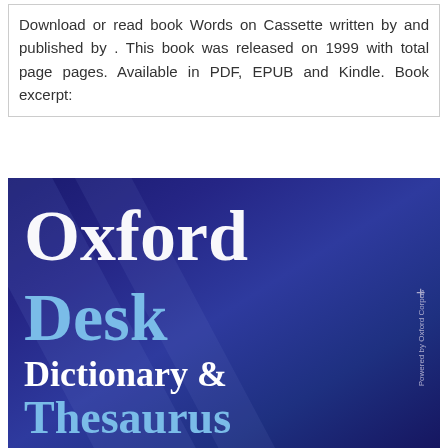Download or read book Words on Cassette written by and published by . This book was released on 1999 with total page pages. Available in PDF, EPUB and Kindle. Book excerpt:
[Figure (photo): Book cover of Oxford Desk Dictionary & Thesaurus with dark blue background and diagonal light sweeps. White serif text reads 'Oxford' at top, light blue text reads 'Desk', white text reads 'Dictionary &', light blue text reads 'Thesaurus'. Small text on right side reads 'Powered by Oxford Corpus' with a plus sign.]